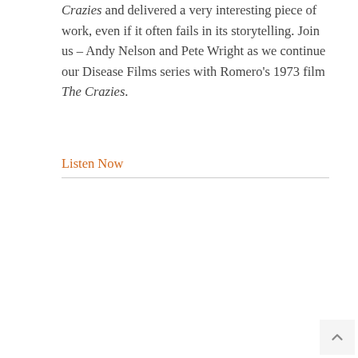Crazies and delivered a very interesting piece of work, even if it often fails in its storytelling. Join us – Andy Nelson and Pete Wright as we continue our Disease Films series with Romero's 1973 film The Crazies.
Listen Now